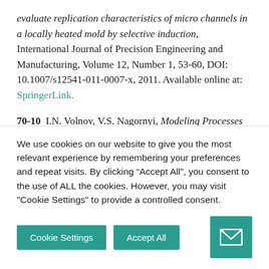evaluate replication characteristics of micro channels in a locally heated mold by selective induction, International Journal of Precision Engineering and Manufacturing, Volume 12, Number 1, 53-60, DOI: 10.1007/s12541-011-0007-x, 2011. Available online at: SpringerLink.
70-10  I.N. Volnov, V.S. Nagornyi, Modeling Processes for Generation of Streams of Monodispersed Fluid Droplets in Electro-inkjet Applications, Science and Technology News, St. Petersburg State Polytechnic University, 4, pp 294-300, 2010. In
We use cookies on our website to give you the most relevant experience by remembering your preferences and repeat visits. By clicking “Accept All”, you consent to the use of ALL the cookies. However, you may visit "Cookie Settings" to provide a controlled consent.